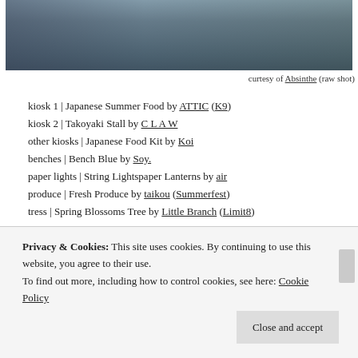[Figure (photo): A photo of a market or food stall scene with wooden crates and produce, shot from above/side angle with a bottle visible in the background.]
curtesy of Absinthe (raw shot)
kiosk 1 | Japanese Summer Food by ATTIC (K9)
kiosk 2 | Takoyaki Stall by C L A W
other kiosks | Japanese Food Kit by Koi
benches | Bench Blue by Soy.
paper lights | String Lightspaper Lanterns by air
produce | Fresh Produce by taikou (Summerfest)
tress | Spring Blossoms Tree by Little Branch (Limit8)
Thank you to Val, Absi, Minnie & Trouble
Privacy & Cookies: This site uses cookies. By continuing to use this website, you agree to their use.
To find out more, including how to control cookies, see here: Cookie Policy